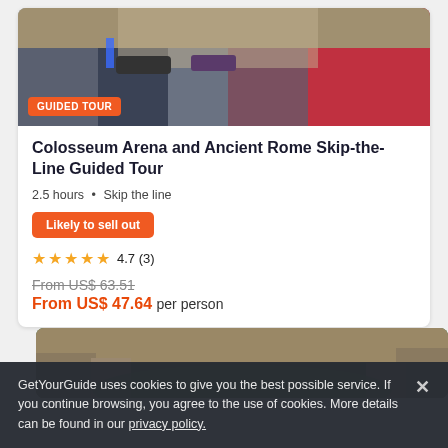[Figure (photo): Group of tourists wearing face masks at the Colosseum, guided tour setting]
GUIDED TOUR
Colosseum Arena and Ancient Rome Skip-the-Line Guided Tour
2.5 hours • Skip the line
Likely to sell out
4.7 (3)
From US$ 63.51
From US$ 47.64 per person
[Figure (photo): Aerial view of the Colosseum arena floor with green grass]
GetYourGuide uses cookies to give you the best possible service. If you continue browsing, you agree to the use of cookies. More details can be found in our privacy policy.